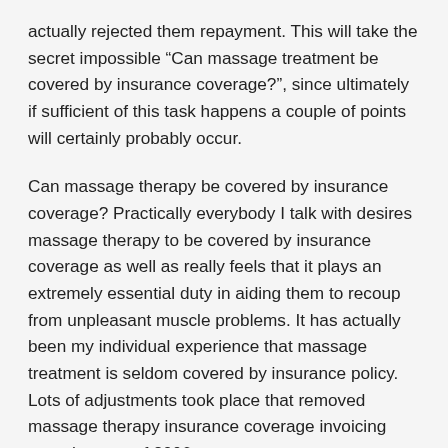actually rejected them repayment. This will take the secret impossible “Can massage treatment be covered by insurance coverage?”, since ultimately if sufficient of this task happens a couple of points will certainly probably occur.
Can massage therapy be covered by insurance coverage? Practically everybody I talk with desires massage therapy to be covered by insurance coverage as well as really feels that it plays an extremely essential duty in aiding them to recoup from unpleasant muscle problems. It has actually been my individual experience that massage treatment is seldom covered by insurance policy. Lots of adjustments took place that removed massage therapy insurance coverage invoicing near the start of 2006.